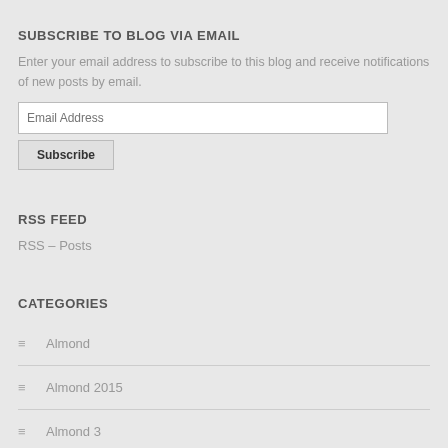SUBSCRIBE TO BLOG VIA EMAIL
Enter your email address to subscribe to this blog and receive notifications of new posts by email.
RSS FEED
RSS – Posts
CATEGORIES
Almond
Almond 2015
Almond 3